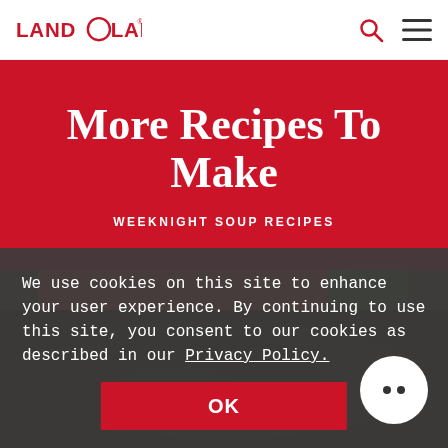Land O Lakes
More Recipes To Make
WEEKNIGHT SOUP RECIPES
[Figure (photo): Food photo showing a soup dish, partially visible behind cookie consent overlay]
We use cookies on this site to enhance your user experience. By continuing to use this site, you consent to our cookies as described in our Privacy Policy.
OK